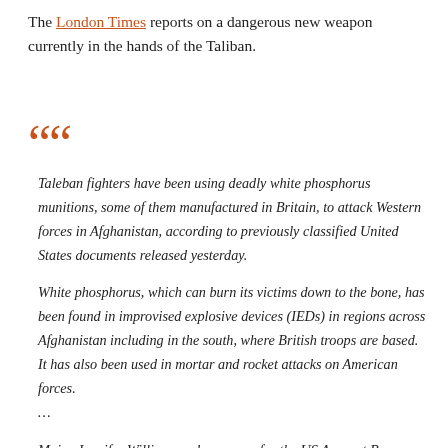The London Times reports on a dangerous new weapon currently in the hands of the Taliban.
Taleban fighters have been using deadly white phosphorus munitions, some of them manufactured in Britain, to attack Western forces in Afghanistan, according to previously classified United States documents released yesterday.

White phosphorus, which can burn its victims down to the bone, has been found in improvised explosive devices (IEDs) in regions across Afghanistan including in the south, where British troops are based. It has also been used in mortar and rocket attacks on American forces.
…

Major Jennifer Willis, a spokeswoman for the US Army at Bagram, near Kabul, said that markings on some of the white phosphorus munitions that had been recovered showed that they had been manufactured in a number of different countries, including Britain, China, Russia and Iran.

Although a full investigation is under way, it is not yet clear how the Taleban and other insurgent forces using them had acquired the white phosphorus munitions from Britain. However, Major Willis said that